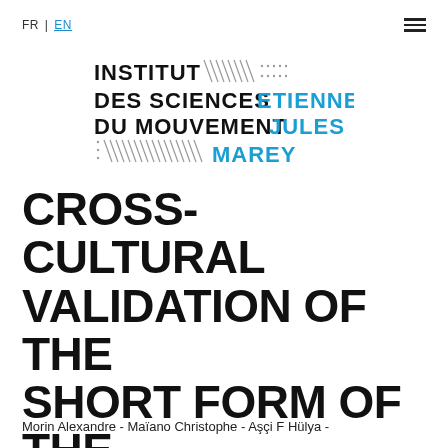FR | EN
[Figure (logo): Institut des Sciences Etienne du Mouvement Jules Marey logo with diagonal line pattern]
CROSS-CULTURAL VALIDATION OF THE SHORT FORM OF THE PHYSICAL SELF-INVENTORY (PSI-S)
Morin Alexandre - Maïano Christophe - Aşçi F Hülya -